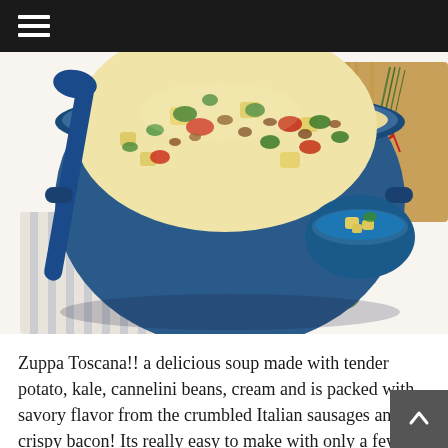☰ (hamburger menu icon)
[Figure (photo): Overhead view of a large blue enamel pot filled with Zuppa Toscana soup — creamy broth with potato chunks, kale, crumbled sausage, and red pepper pieces, garnished with fresh parsley. A blue spoon rests across the pot. Beside it is a small blue bowl with potato chunks, fresh green herbs (basil/mint), a striped linen napkin, and a bundle of thyme tied with red string on a wooden board, all on a white background.]
Zuppa Toscana!! a delicious soup made with tender potato, kale, cannelini beans, cream and is packed with savory flavor from the crumbled Italian sausages and crispy bacon! Its really easy to make with only a few ingrediënts. And its combination is perfect!